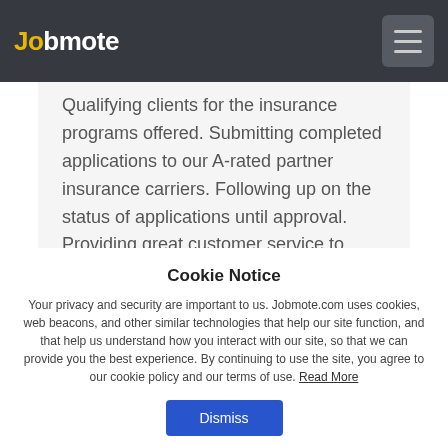Jobmote
Qualifying clients for the insurance programs offered. Submitting completed applications to our A-rated partner insurance carriers. Following up on the status of applications until approval. Providing great customer service to families in need!
Cookie Notice
Your privacy and security are important to us. Jobmote.com uses cookies, web beacons, and other similar technologies that help our site function, and that help us understand how you interact with our site, so that we can provide you the best experience. By continuing to use the site, you agree to our cookie policy and our terms of use. Read More
Dismiss